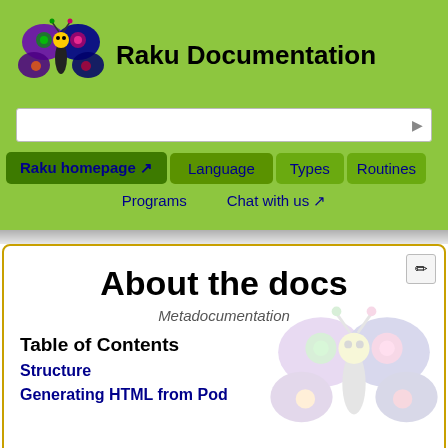Raku Documentation
Search bar
Navigation: Raku homepage, Language, Types, Routines, Programs, Chat with us
About the docs
Metadocumentation
Table of Contents
Structure
Generating HTML from Pod